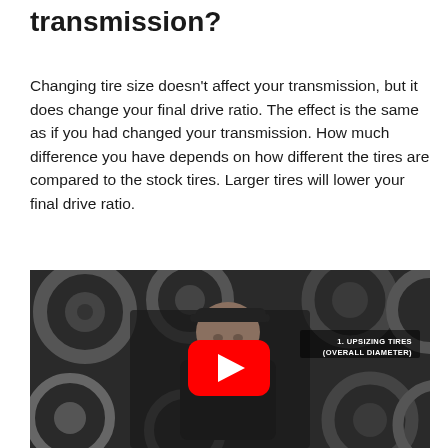transmission?
Changing tire size doesn’t affect your transmission, but it does change your final drive ratio. The effect is the same as if you had changed your transmission. How much difference you have depends on how different the tires are compared to the stock tires. Larger tires will lower your final drive ratio.
[Figure (photo): YouTube video thumbnail showing a man in a black cap and jacket standing in front of a wall of car rims/wheels. A red YouTube play button is centered on the image. Text overlay in top right reads '1. UPSIZING TIRES (OVERALL DIAMETER)'.]